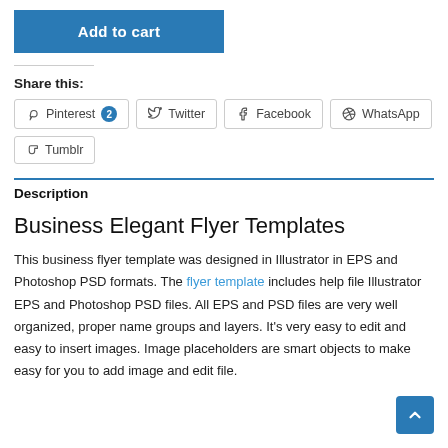Add to cart
Share this:
Pinterest 2
Twitter
Facebook
WhatsApp
Tumblr
Description
Business Elegant Flyer Templates
This business flyer template was designed in Illustrator in EPS and Photoshop PSD formats. The flyer template includes help file Illustrator EPS and Photoshop PSD files. All EPS and PSD files are very well organized, proper name groups and layers. It's very easy to edit and easy to insert images. Image placeholders are smart objects to make easy for you to add image and edit file.